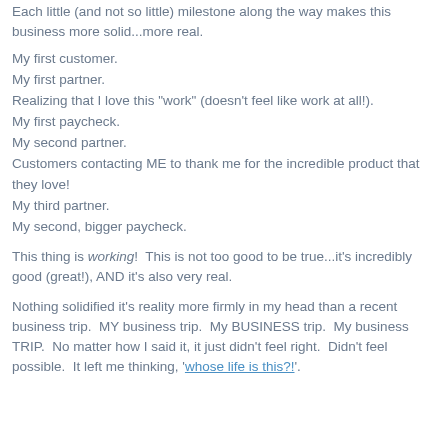Each little (and not so little) milestone along the way makes this business more solid...more real.
My first customer.
My first partner.
Realizing that I love this "work" (doesn't feel like work at all!).
My first paycheck.
My second partner.
Customers contacting ME to thank me for the incredible product that they love!
My third partner.
My second, bigger paycheck.
This thing is working!  This is not too good to be true...it's incredibly good (great!), AND it's also very real.
Nothing solidified it's reality more firmly in my head than a recent business trip.  MY business trip.  My BUSINESS trip.  My business TRIP.  No matter how I said it, it just didn't feel right.  Didn't feel possible.  It left me thinking, 'whose life is this?!'.